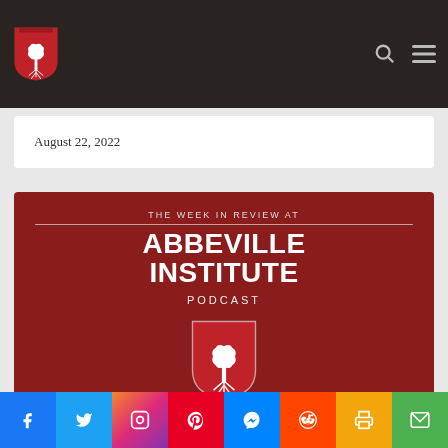[Figure (logo): Abbeville Institute logo — white palmetto tree on red shield, displayed in dark navigation bar]
August 22, 2022
[Figure (illustration): Podcast cover art: dark red background with text 'THE WEEK IN REVIEW AT ABBEVILLE INSTITUTE PODCAST' and a white palmetto tree on a red shield in the lower center]
Social sharing bar: Facebook, Twitter, Instagram, Pinterest, Messenger, Reddit, Print, Email